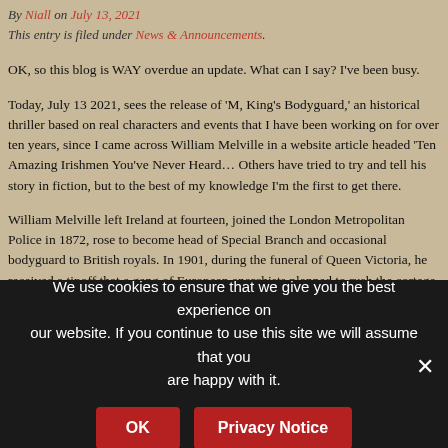By Niall on July 13, 2021
This entry is filed under News & Announcements.
OK, so this blog is WAY overdue an update. What can I say? I've been busy.
Today, July 13 2021, sees the release of 'M, King's Bodyguard,' an historical th… characters and events that I have been working on for over ten years, since I ca… Melville in a website article headed 'Ten Amazing Irishmen You've Never Heard… try and tell his story in fiction, but to the best of my knowledge I'm the first to ge…
William Melville left Ireland at fourteen, joined the London Metropolitan Police i… become head of Special Branch and occasional bodyguard to British royals. In… the funeral of Queen Victoria, he received a tipoff that a gang of European ana… the cortege and assassinate Kaiser Wilhelm of Germany. With the Kaiser's bod… Steinhauer in tow, Melville set out to see off the plotters – but nothing went acc…
We use cookies to ensure that we give you the best experience on our website. If you continue to use this site we will assume that you are happy with it.